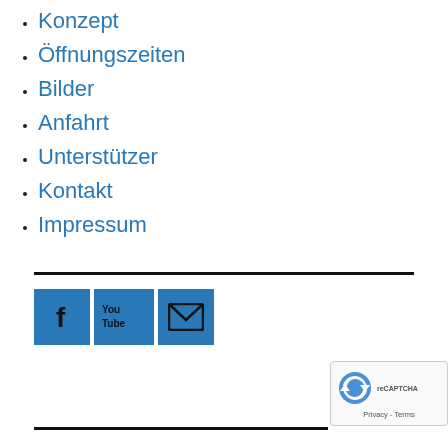Konzept
Öffnungszeiten
Bilder
Anfahrt
Unterstützer
Kontakt
Impressum
[Figure (other): Social media icons: Facebook (blue square with f), YouTube (blue square with You Tube text), Email/envelope (blue square with envelope icon). Followed by reCAPTCHA badge with Privacy - Terms text.]